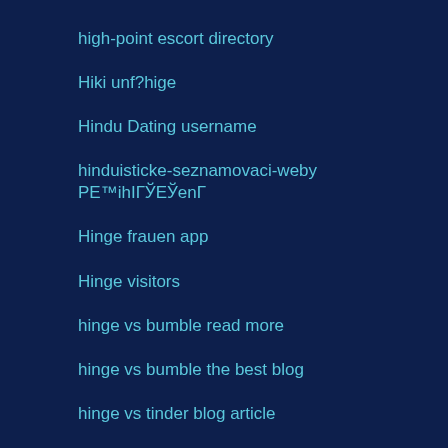high-point escort directory
Hiki unf?hige
Hindu Dating username
hinduisticke-seznamovaci-weby PE™ihIГЎЕЎenГ
Hinge frauen app
Hinge visitors
hinge vs bumble read more
hinge vs bumble the best blog
hinge vs tinder blog article